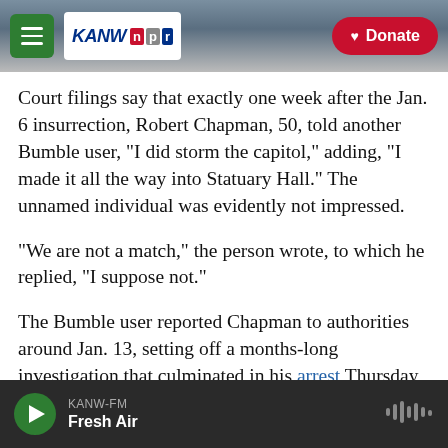[Figure (screenshot): KANW NPR radio website header with hamburger menu, KANW-NPR logo, mountain background photo, and a red Donate button]
Court filings say that exactly one week after the Jan. 6 insurrection, Robert Chapman, 50, told another Bumble user, "I did storm the capitol," adding, "I made it all the way into Statuary Hall." The unnamed individual was evidently not impressed.
"We are not a match," the person wrote, to which he replied, "I suppose not."
The Bumble user reported Chapman to authorities around Jan. 13, setting off a months-long investigation that culminated in his arrest Thursday
KANW-FM  Fresh Air